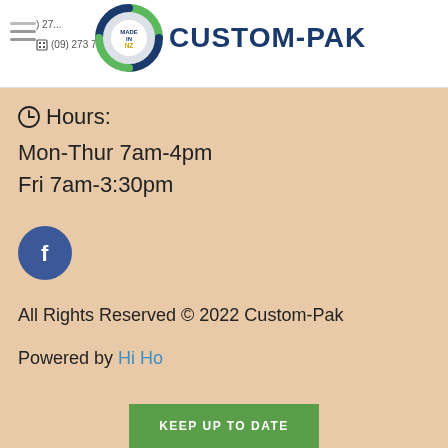[Figure (logo): Custom-Pak logo with circular 'Made in NZ' emblem and blue text 'CUSTOM-PAK']
(09) 273 7... (phone, partially visible)
(09) 273 7... (fax, partially visible)
⏰ Hours:
Mon-Thur 7am-4pm
Fri 7am-3:30pm
[Figure (logo): Facebook circular icon with white 'f' on blue background]
All Rights Reserved © 2022 Custom-Pak
Powered by Hi Ho
KEEP UP TO DATE